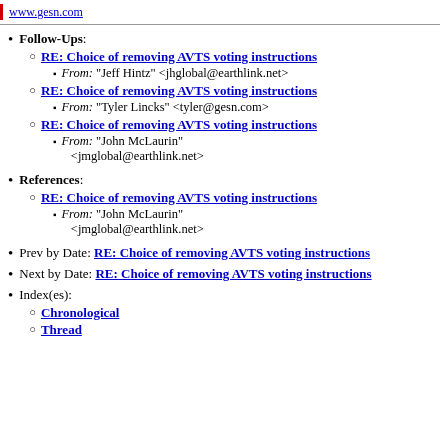www.gesn.com
Follow-Ups:
RE: Choice of removing AVTS voting instructions
From: "Jeff Hintz" <jhglobal@earthlink.net>
RE: Choice of removing AVTS voting instructions
From: "Tyler Lincks" <tyler@gesn.com>
RE: Choice of removing AVTS voting instructions
From: "John McLaurin" <jmglobal@earthlink.net>
References:
RE: Choice of removing AVTS voting instructions
From: "John McLaurin" <jmglobal@earthlink.net>
Prev by Date: RE: Choice of removing AVTS voting instructions
Next by Date: RE: Choice of removing AVTS voting instructions
Index(es):
Chronological
Thread